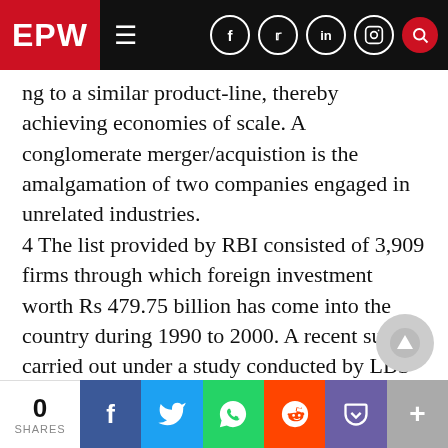EPW
ng to a similar product-line, thereby achieving economies of scale. A conglomerate merger/acquistion is the amalgamation of two companies engaged in unrelated industries. 4 The list provided by RBI consisted of 3,909 firms through which foreign investment worth Rs 479.75 billion has come into the country during 1990 to 2000. A recent survey carried out under a study conducted by LBS-NCAER on ‘Entry Strategies of MNCs in India during 1990s’, made an attempt to identify the addresses of the above-mentioned firms, based on the CD available from the department of company affairs. Only 2,500 fi…